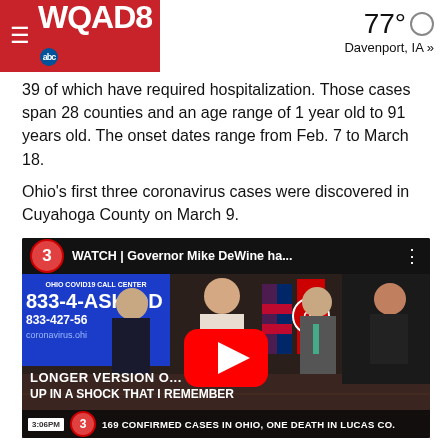WQAD8 abc  77° Davenport, IA »
39 of which have required hospitalization. Those cases span 28 counties and an age range of 1 year old to 91 years old. The onset dates range from Feb. 7 to March 18.
Ohio's first three coronavirus cases were discovered in Cuyahoga County on March 9.
[Figure (screenshot): YouTube video thumbnail showing WATCH | Governor Mike DeWine ha... with Ohio COVID19 Call Center signage, government officials at podium, Ohio state flag, and a sign language interpreter. Text overlays: LONGER VERSION C..., UP IN A SHOCK THAT I REMEMBER. Bottom bar: 3:06PM, channel 3 logo, 169 CONFIRMED CASES IN OHIO, ONE DEATH IN LUCAS CO.]